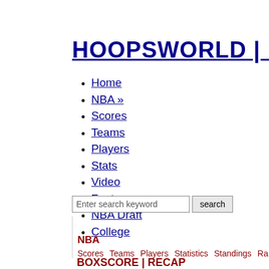HOOPSWORLD | Bas
Home
NBA »
Scores
Teams
Players
Stats
Video
Fantasy
NBA Draft
College
Enter search keyword  search
NBA
Scores  Teams  Players  Statistics  Standings  Ra
BOXSCORE | RECAP